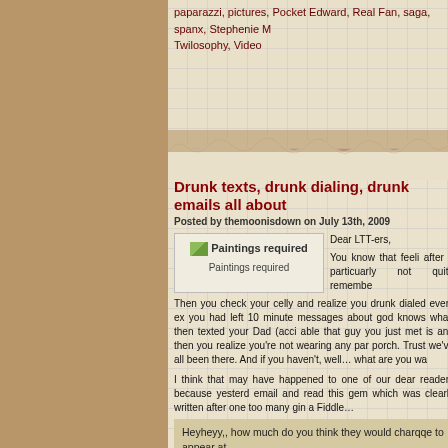paparazzi, pictures, Pocket Edward, Real Fan, saga, spanx, Stephenie M Twilosophy, Video
Drunk texts, drunk dialing, drunk emails all about...
Posted by themoonisdown on July 13th, 2009
[Figure (illustration): Broken image placeholder labeled 'Paintings required' with caption below]
Dear LTT-ers,
You know that feeli after a particuarly not quite remembe Then you check your celly and realize you drunk dialed every ex you had left 10 minute messages about god knows what, then texted your Dad (acci able that guy you just met is and then you realize you're not wearing any par porch. Trust we've all been there. And if you haven't, well… what are you wa
I think that may have happened to one of our dear readers because yesterd email and read this gem which was clearly written after one too many gin a Fiddle…
Heyheyy,, how much do you think they would charqqe to appear at

Andd,, whenn aree KStew,, RPatzz,, andd TLaut makinqq ann a